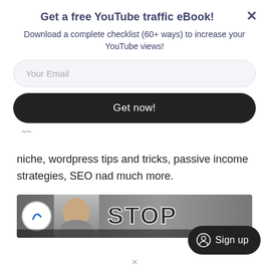Get a free YouTube traffic eBook!
Download a complete checklist (60+ ways) to increase your YouTube views!
Your Email
Get now!
This channel can teach you how to choose your niche, wordpress tips and tricks, passive income strategies, SEO nad much more.
[Figure (screenshot): Partial YouTube video thumbnail showing a man's face and large bold text 'STOP' with a channel logo circle on the left]
Sign up